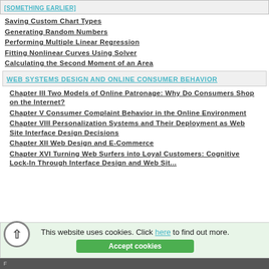Saving Custom Chart Types
Generating Random Numbers
Performing Multiple Linear Regression
Fitting Nonlinear Curves Using Solver
Calculating the Second Moment of an Area
WEB SYSTEMS DESIGN AND ONLINE CONSUMER BEHAVIOR
Chapter III Two Models of Online Patronage: Why Do Consumers Shop on the Internet?
Chapter V Consumer Complaint Behavior in the Online Environment
Chapter VIII Personalization Systems and Their Deployment as Web Site Interface Design Decisions
Chapter XII Web Design and E-Commerce
Chapter XVI Turning Web Surfers into Loyal Customers: Cognitive Lock-In Through Interface Design and Web Sit...
This website uses cookies. Click here to find out more. Accept cookies